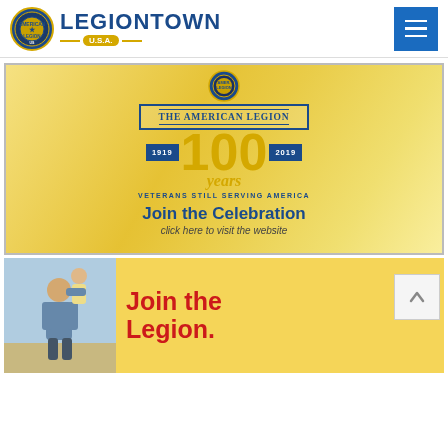LEGIONTOWN U.S.A.
[Figure (illustration): The American Legion 100 Years centennial banner (1919-2019) with gold '100' text and 'Veterans Still Serving America' tagline, with 'Join the Celebration - click here to visit the website' below]
[Figure (illustration): Join the Legion advertisement banner with yellow background, photo of adult holding child, and bold red 'Join the Legion.' text]